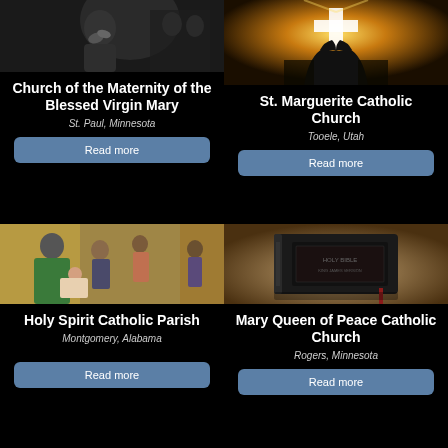[Figure (photo): Woman receiving communion, head bowed, praying]
Church of the Maternity of the Blessed Virgin Mary
St. Paul, Minnesota
Read more
[Figure (photo): Hands raised toward a glowing cross in the sky]
St. Marguerite Catholic Church
Tooele, Utah
Read more
[Figure (photo): Priest baptizing a baby with family watching]
Holy Spirit Catholic Parish
Montgomery, Alabama
Read more
[Figure (photo): A dark leather-bound Holy Bible on a surface]
Mary Queen of Peace Catholic Church
Rogers, Minnesota
Read more